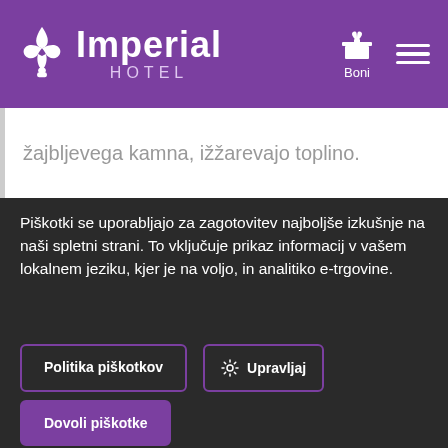[Figure (logo): Imperial Hotel logo with fleur-de-lis icon and purple header bar with Boni gift icon and hamburger menu]
žajbljevega kamna, ižžarevajo toplino.
Piškotki se uporabljajo za zagotovitev najboljše izkušnje na naši spletni strani. To vključuje prikaz informacij v vašem lokalnem jeziku, kjer je na voljo, in analitiko e-trgovine.
Politika piškotkov
Upravljaj
Dovoli piškotke